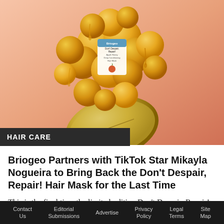[Figure (photo): Product photo of Briogeo Don't Despair, Repair! Apple Honey Deep Conditioning Hair Mask bottle surrounded by golden balloon-like spheres and a halved apple, on a pink-peach gradient background]
HAIR CARE
Briogeo Partners with TikTok Star Mikayla Nogueira to Bring Back the Don't Despair, Repair! Hair Mask for the Last Time
This is the final time the limited-edition Don't Despair, Repair! Apple Honey Deep Conditioning Hair Mask will ever be in production and the
Contact Us   Editorial Submissions   Advertise   Privacy Policy   Legal Terms   Site Map